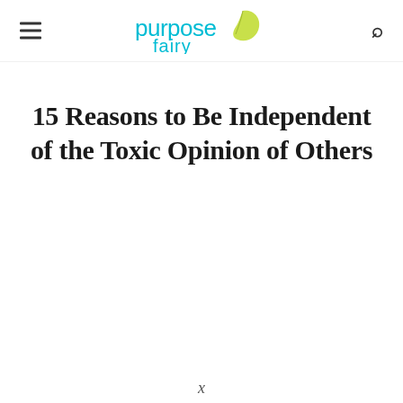purpose fairy [navigation header with hamburger menu and search icon]
15 Reasons to Be Independent of the Toxic Opinion of Others